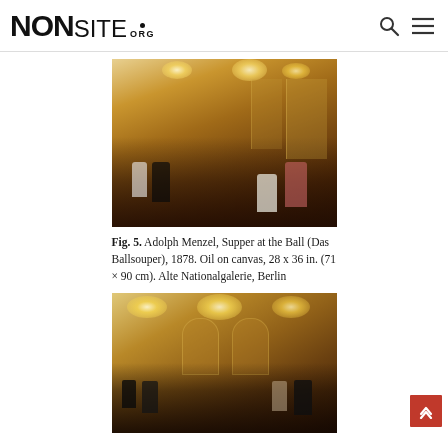NONSITE.ORG
[Figure (photo): Adolph Menzel painting - Supper at the Ball (Das Ballsouper), 1878. Oil painting showing a grand ballroom scene with chandeliers, elegantly dressed figures, and a sumptuous golden interior.]
Fig. 5. Adolph Menzel, Supper at the Ball (Das Ballsouper), 1878. Oil on canvas, 28 x 36 in. (71 × 90 cm). Alte Nationalgalerie, Berlin
[Figure (photo): Detail or related painting showing a similar ballroom scene with chandeliers and elegantly dressed crowd in a grand golden hall.]